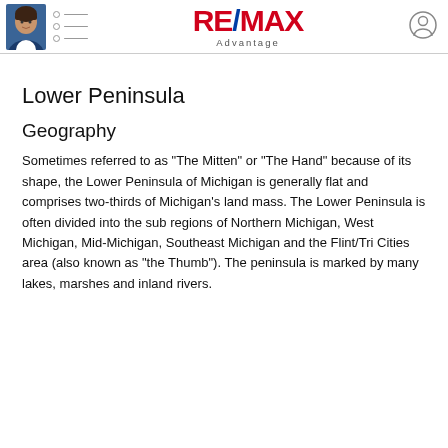RE/MAX Advantage
Lower Peninsula
Geography
Sometimes referred to as "The Mitten" or "The Hand" because of its shape, the Lower Peninsula of Michigan is generally flat and comprises two-thirds of Michigan's land mass. The Lower Peninsula is often divided into the sub regions of Northern Michigan, West Michigan, Mid-Michigan, Southeast Michigan and the Flint/Tri Cities area (also known as "the Thumb"). The peninsula is marked by many lakes, marshes and inland rivers.